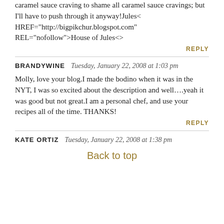caramel sauce craving to shame all caramel sauce cravings; but I'll have to push through it anyway!Jules< HREF="http://bigpikchur.blogspot.com" REL="nofollow">House of Jules<>
REPLY
BRANDYWINE   Tuesday, January 22, 2008 at 1:03 pm
Molly, love your blog.I made the bodino when it was in the NYT, I was so excited about the description and well….yeah it was good but not great.I am a personal chef, and use your recipes all of the time. THANKS!
REPLY
KATE ORTIZ   Tuesday, January 22, 2008 at 1:38 pm
Back to top